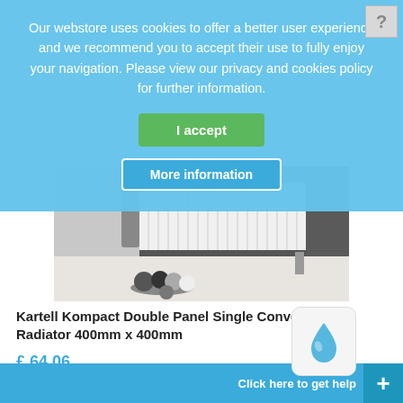[Figure (screenshot): Cookie consent overlay on a webstore product page. The overlay shows a blue background with text about cookies policy, a green 'I accept' button, and a teal 'More information' button. Below the overlay is a product listing for a Kartell Kompact Double Panel Single Convector Radiator with an image of the radiator, price £64.06, and a DETAILS button.]
Our webstore uses cookies to offer a better user experience and we recommend you to accept their use to fully enjoy your navigation. Please view our privacy and cookies policy for further information.
I accept
More information
Kartell Kompact Double Panel Single Convector Radiator 400mm x 400mm
£ 64.06
DETAILS »
Click here to get help